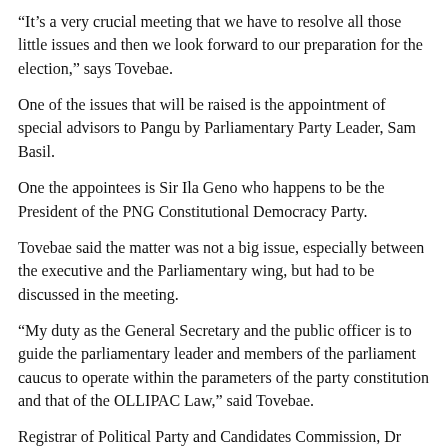“It’s a very crucial meeting that we have to resolve all those little issues and then we look forward to our preparation for the election,” says Tovebae.
One of the issues that will be raised is the appointment of special advisors to Pangu by Parliamentary Party Leader, Sam Basil.
One the appointees is Sir Ila Geno who happens to be the President of the PNG Constitutional Democracy Party.
Tovebae said the matter was not a big issue, especially between the executive and the Parliamentary wing, but had to be discussed in the meeting.
“My duty as the General Secretary and the public officer is to guide the parliamentary leader and members of the parliament caucus to operate within the parameters of the party constitution and that of the OLLIPAC Law,” said Tovebae.
Registrar of Political Party and Candidates Commission, Dr Alphonse Gelu, says he has not been officially informed of the appointments but says it is a unique predicament which can only be addressed by all individuals involved.